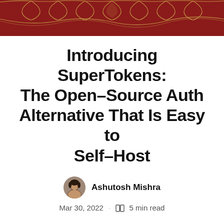[Figure (illustration): Dark red decorative banner with golden ornamental pattern at the top of the page]
Introducing SuperTokens: The Open-Source Auth Alternative That Is Easy to Self-Host
Ashutosh Mishra
Mar 30, 2022 · 5 min read
Subscribe to my newsletter and never miss my upcoming articles